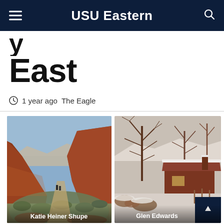USU Eastern
East
1 year ago  The Eagle
[Figure (photo): Oil painting of red rock canyon landscape with two small figures on a desert trail, Katie Heiner Shupe]
[Figure (photo): Oil painting of a snow-covered cabin with bare winter trees, Glen Edwards]